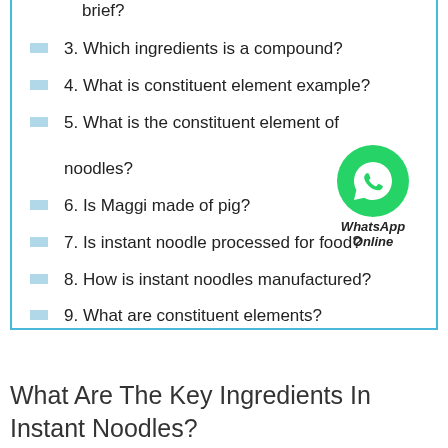brief?
3. Which ingredients is a compound?
4. What is constituent element example?
5. What is the constituent element of noodles?
6. Is Maggi made of pig?
7. Is instant noodle processed for food?
8. How is instant noodles manufactured?
9. What are constituent elements?
What Are The Key Ingredients In Instant Noodles?